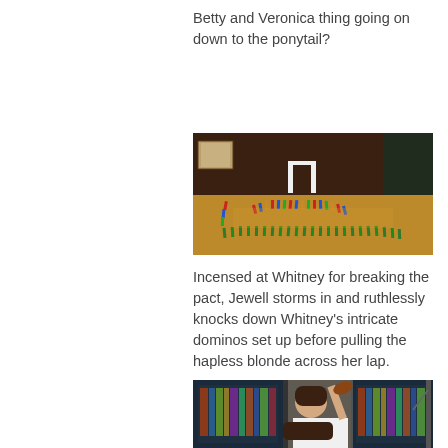Betty and Veronica thing going on down to the ponytail?
[Figure (photo): A spiral/arc arrangement of colorful dominos set up on a wooden table in a home library setting, with a white rectangular frame structure in the center.]
Incensed at Whitney for breaking the pact, Jewell storms in and ruthlessly knocks down Whitney's intricate dominos set up before pulling the hapless blonde across her lap.
[Figure (photo): A woman in white holding a wooden hairbrush raised, with another person's head of dark hair visible below, in front of bookshelves.]